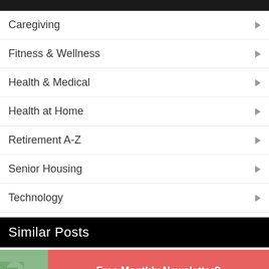Caregiving
Fitness & Wellness
Health & Medical
Health at Home
Retirement A-Z
Senior Housing
Technology
Similar Posts
Free Monthly Newsletter?